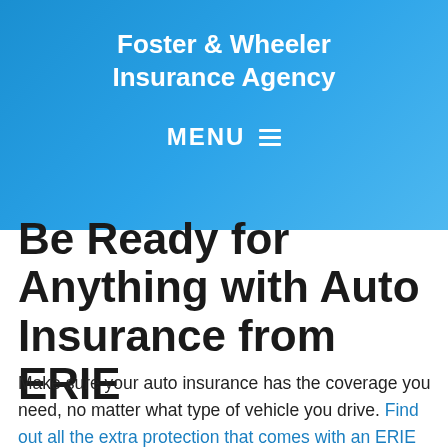Foster & Wheeler Insurance Agency
MENU
Be Ready for Anything with Auto Insurance from ERIE
Make sure your auto insurance has the coverage you need, no matter what type of vehicle you drive. Find out all the extra protection that comes with an ERIE auto policy. If you are unsure what your auto insurance can cover – and what it can't – ask your local agent. Or you